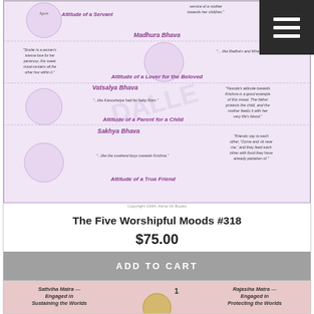[Figure (illustration): Decorative religious chart showing Five Worshipful Moods (Bhavas) with circular illustrations and text describing each mood: Madhura Bhava (Attitude of a Lover for the Beloved), Vatsalya Bhava (Attitude of a Parent for a Child), Sakhya Bhava (Attitude of a True Friend), with quotes and servant attitude at the top.]
Copyright 1994, Atma Vit Books
The Five Worshipful Moods #318
$75.00
ADD TO CART
[Figure (illustration): Partial view of a second religious chart titled 'The Four Parts & Eight Glories of Ishvari/Ishvara' showing Sattvika Matra - Engaged in Sustaining the Worlds, and Rajasika Matra - Engaged in Protecting the Worlds, with a central deity image.]